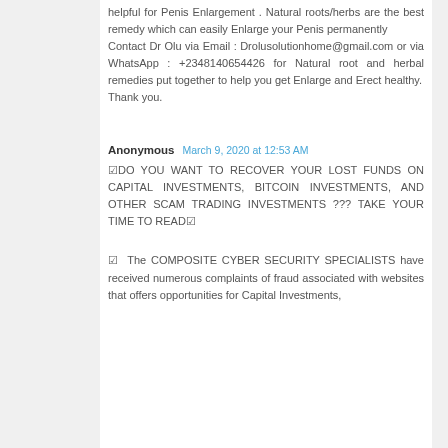helpful for Penis Enlargement . Natural roots/herbs are the best remedy which can easily Enlarge your Penis permanently Contact Dr Olu via Email : Drolusolutionhome@gmail.com or via WhatsApp : +2348140654426 for Natural root and herbal remedies put together to help you get Enlarge and Erect healthy. Thank you.
Anonymous March 9, 2020 at 12:53 AM
☑DO YOU WANT TO RECOVER YOUR LOST FUNDS ON CAPITAL INVESTMENTS, BITCOIN INVESTMENTS, AND OTHER SCAM TRADING INVESTMENTS ??? TAKE YOUR TIME TO READ☑
☑ The COMPOSITE CYBER SECURITY SPECIALISTS have received numerous complaints of fraud associated with websites that offers opportunities for Capital Investments,